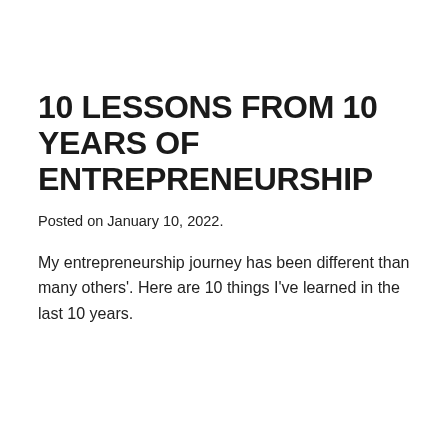10 LESSONS FROM 10 YEARS OF ENTREPRENEURSHIP
Posted on January 10, 2022.
My entrepreneurship journey has been different than many others'. Here are 10 things I've learned in the last 10 years.